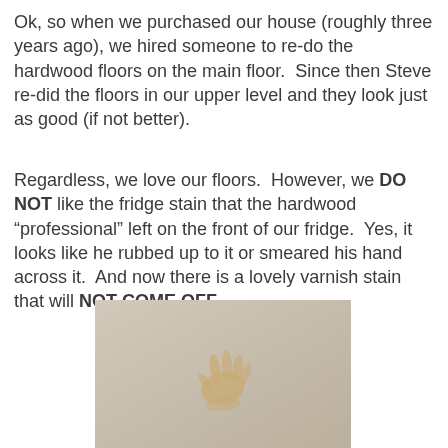Ok, so when we purchased our house (roughly three years ago), we hired someone to re-do the hardwood floors on the main floor.  Since then Steve re-did the floors in our upper level and they look just as good (if not better).
Regardless, we love our floors.  However, we DO NOT like the fridge stain that the hardwood “professional” left on the front of our fridge.  Yes, it looks like he rubbed up to it or smeared his hand across it.  And now there is a lovely varnish stain that will NOT COME OFF.
[Figure (photo): Photo of a beige/cream colored refrigerator front showing a hand-shaped varnish stain smear in the center of the image.]